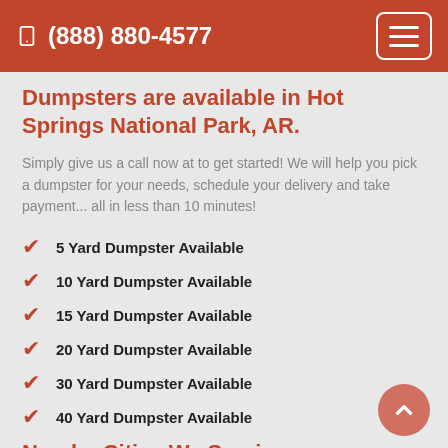(888) 880-4577
Dumpsters are available in Hot Springs National Park, AR.
Simply give us a call now at to get started! We will help you pick a dumpster for your needs, schedule your delivery and take payment... all in less than 10 minutes!
5 Yard Dumpster Available
10 Yard Dumpster Available
15 Yard Dumpster Available
20 Yard Dumpster Available
30 Yard Dumpster Available
40 Yard Dumpster Available
Nearby Cities We Service